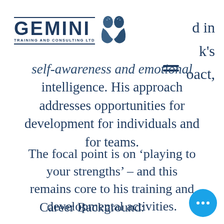[Figure (logo): Gemini Training and Consulting Ltd logo with two profile faces silhouette in dark blue]
d in
k's
oact,
self-awareness and emotional intelligence. His approach addresses opportunities for development for individuals and for teams.
The focal point is on ‘playing to your strengths’ – and this remains core to his training and developmental activities.
Career Background: